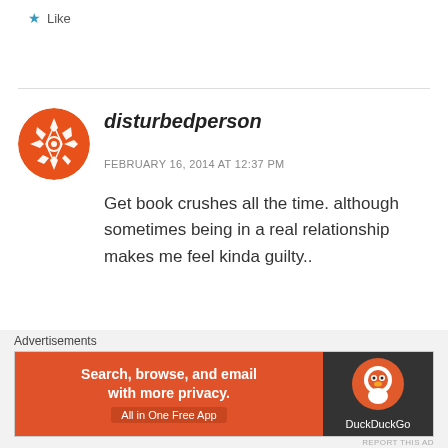★ Like
[Figure (illustration): Orange circular avatar with geometric white snowflake/diamond pattern]
disturbedperson
FEBRUARY 16, 2014 AT 12:37 PM
Get book crushes all the time. although sometimes being in a real relationship makes me feel kinda guilty..
★ Like
[Figure (other): DuckDuckGo advertisement banner: 'Search, browse, and email with more privacy. All in One Free App' with DuckDuckGo logo on dark right panel]
Advertisements